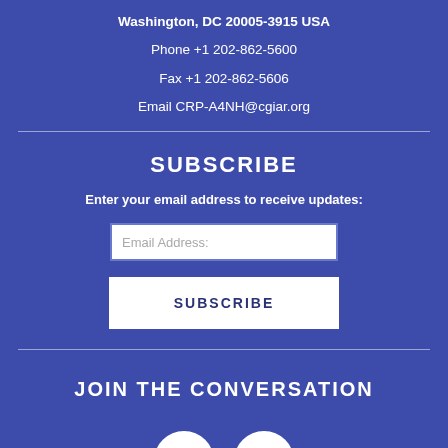Washington, DC 20005-3915 USA
Phone +1 202-862-5600
Fax +1 202-862-5606
Email CRP-A4NH@cgiar.org
SUBSCRIBE
Enter your email address to receive updates:
Email Address:
SUBSCRIBE
JOIN THE CONVERSATION
[Figure (illustration): Twitter bird icon and email envelope icon in white circles on blue background]